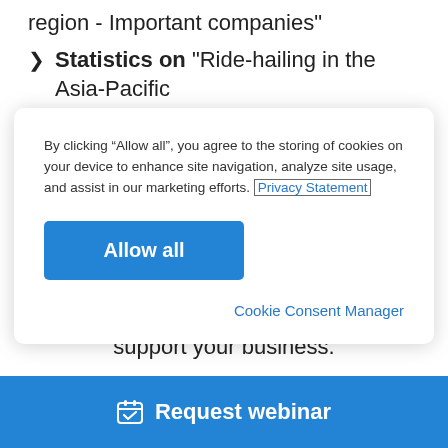region - Important companies"
Statistics on "Ride-hailing in the Asia-Pacific region - Key markets"
By clicking “Allow all”, you agree to the storing of cookies on your device to enhance site navigation, analyze site usage, and assist in our marketing efforts. Privacy Statement
Allow all
Cookie Consent Manager
Learn more about how Statista can support your business.
Request webinar